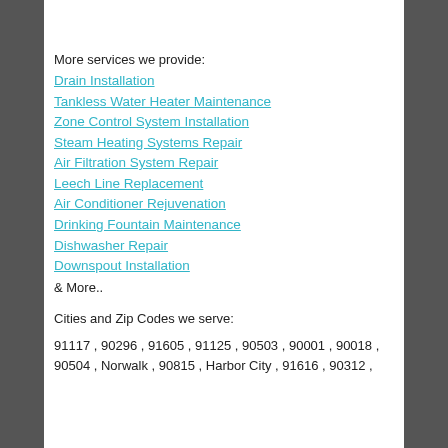More services we provide:
Drain Installation
Tankless Water Heater Maintenance
Zone Control System Installation
Steam Heating Systems Repair
Air Filtration System Repair
Leech Line Replacement
Air Conditioner Rejuvenation
Drinking Fountain Maintenance
Dishwasher Repair
Downspout Installation
& More..
Cities and Zip Codes we serve:
91117 , 90296 , 91605 , 91125 , 90503 , 90001 , 90018 , 90504 , Norwalk , 90815 , Harbor City , 91616 , 90312 ,